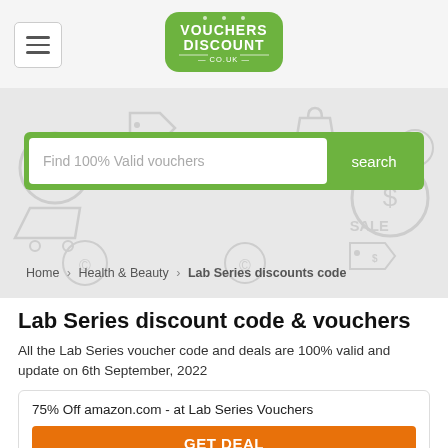[Figure (logo): Vouchers Discount co.uk green logo badge]
[Figure (screenshot): Search bar with placeholder 'Find 100% Valid vouchers' and green 'search' button on decorative hero background with coupon icons]
Home > Health & Beauty > Lab Series discounts code
Lab Series discount code & vouchers
All the Lab Series voucher code and deals are 100% valid and update on 6th September, 2022
75% Off amazon.com - at Lab Series Vouchers
GET DEAL